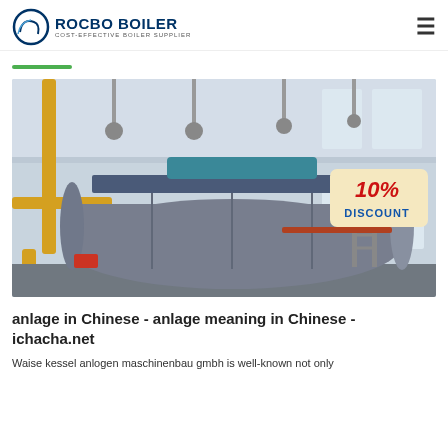ROCBO BOILER - COST-EFFECTIVE BOILER SUPPLIER
[Figure (photo): Industrial boiler installation inside a factory building. A large horizontal cylindrical steam boiler is visible with yellow pipes on the left side and a 10% DISCOUNT badge overlay in the upper right corner.]
anlage in Chinese - anlage meaning in Chinese - ichacha.net
Waise kessel anlogen maschinenbau gmbh is well-known not only